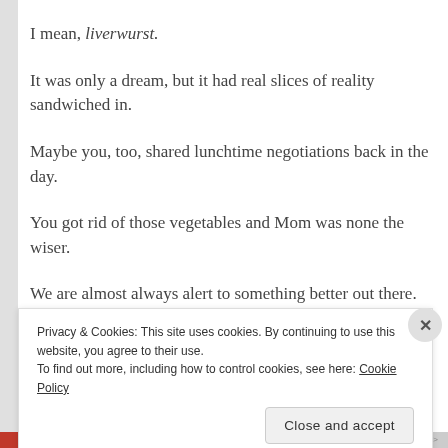I mean, liverwurst.
It was only a dream, but it had real slices of reality sandwiched in.
Maybe you, too, shared lunchtime negotiations back in the day.
You got rid of those vegetables and Mom was none the wiser.
We are almost always alert to something better out there.
Trading
Privacy & Cookies: This site uses cookies. By continuing to use this website, you agree to their use. To find out more, including how to control cookies, see here: Cookie Policy
Close and accept